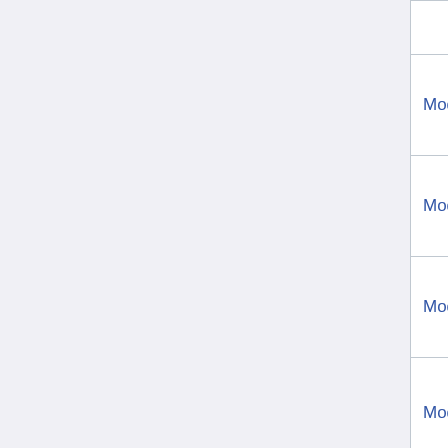| Module link | Description |
| --- | --- |
|  | with |
| Module:Portal/images/d | For p name begi with |
| Module:Portal/images/e | For p name begi with |
| Module:Portal/images/f | For p name begi with |
| Module:Portal/images/g | For p name begi with |